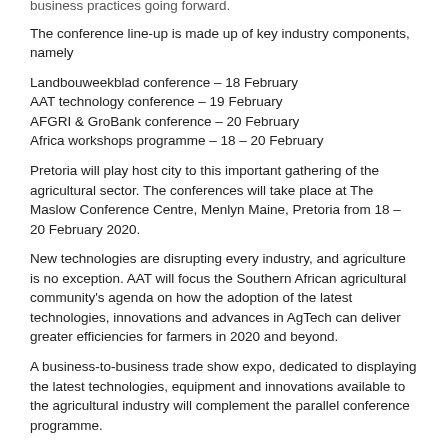business practices going forward.
The conference line-up is made up of key industry components, namely
Landbouweekblad conference – 18 February
AAT technology conference – 19 February
AFGRI & GroBank conference – 20 February
Africa workshops programme – 18 – 20 February
Pretoria will play host city to this important gathering of the agricultural sector. The conferences will take place at The Maslow Conference Centre, Menlyn Maine, Pretoria from 18 – 20 February 2020.
New technologies are disrupting every industry, and agriculture is no exception. AAT will focus the Southern African agricultural community's agenda on how the adoption of the latest technologies, innovations and advances in AgTech can deliver greater efficiencies for farmers in 2020 and beyond.
A business-to-business trade show expo, dedicated to displaying the latest technologies, equipment and innovations available to the agricultural industry will complement the parallel conference programme.